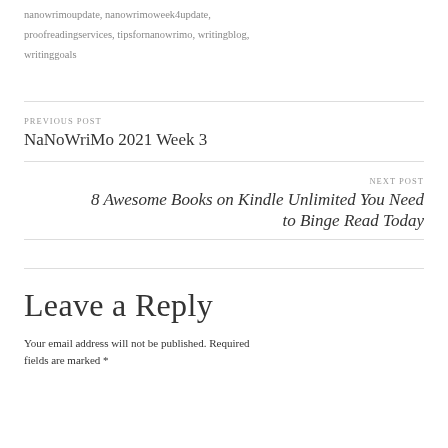nanowrimoupdate, nanowrimoweek4update, proofreadingservices, tipsfornanowrimo, writingblog, writinggoals
PREVIOUS POST
NaNoWriMo 2021 Week 3
NEXT POST
8 Awesome Books on Kindle Unlimited You Need to Binge Read Today
Leave a Reply
Your email address will not be published. Required fields are marked *